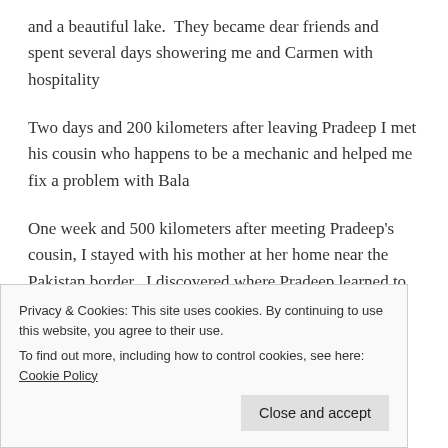and a beautiful lake.  They became dear friends and spent several days showering me and Carmen with hospitality
Two days and 200 kilometers after leaving Pradeep I met his cousin who happens to be a mechanic and helped me fix a problem with Bala
One week and 500 kilometers after meeting Pradeep's cousin, I stayed with his mother at her home near the Pakistan border.  I discovered where Pradeep learned to be so kind and hospitable
Privacy & Cookies: This site uses cookies. By continuing to use this website, you agree to their use. To find out more, including how to control cookies, see here: Cookie Policy